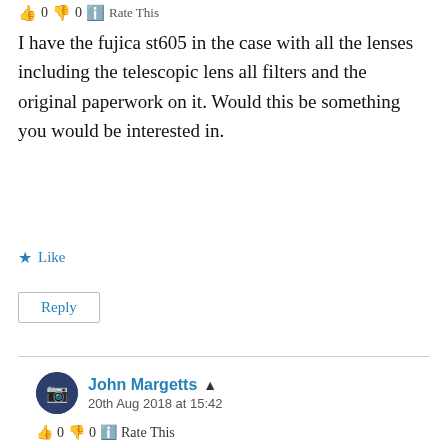0  0  Rate This
I have the fujica st605 in the case with all the lenses including the telescopic lens all filters and the original paperwork on it. Would this be something you would be interested in.
Like
Reply
John Margetts
20th Aug 2018 at 15:42
0  0  Rate This
No, I'm afraid not.